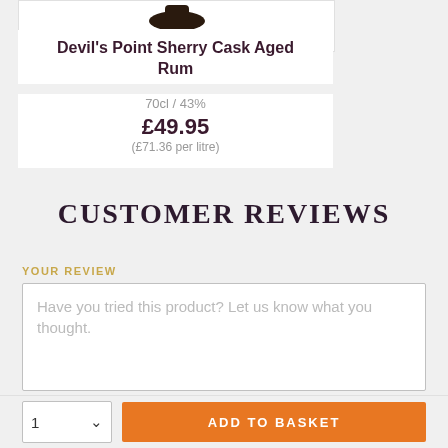[Figure (photo): Partial view of a bottle of Devil's Point Sherry Cask Aged Rum at the top of a product card]
Devil's Point Sherry Cask Aged Rum
70cl / 43%
£49.95
(£71.36 per litre)
CUSTOMER REVIEWS
YOUR REVIEW
Have you tried this product? Let us know what you thought.
1  ADD TO BASKET